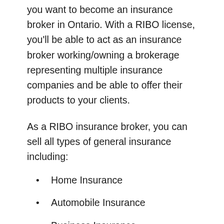you want to become an insurance broker in Ontario. With a RIBO license, you'll be able to act as an insurance broker working/owning a brokerage representing multiple insurance companies and be able to offer their products to your clients.
As a RIBO insurance broker, you can sell all types of general insurance including:
Home Insurance
Automobile Insurance
Business Insurance
Travel Insurance